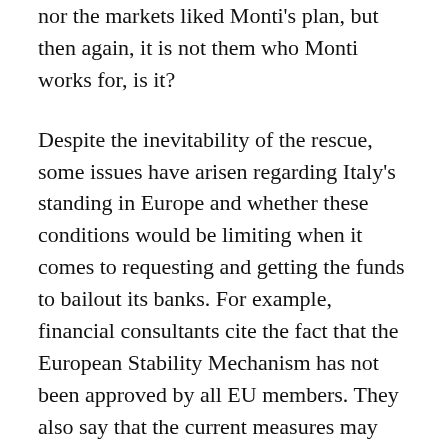nor the markets liked Monti's plan, but then again, it is not them who Monti works for, is it?
Despite the inevitability of the rescue, some issues have arisen regarding Italy's standing in Europe and whether these conditions would be limiting when it comes to requesting and getting the funds to bailout its banks. For example, financial consultants cite the fact that the European Stability Mechanism has not been approved by all EU members. They also say that the current measures may not be enough to rescue Italy due to the fact its debt is much larger than that of Spain or Greece, for example.
“Placing Italy in a bailout scheme casts an even bigger shadow over the euro-zone,” says Yohay Elam at Forex Crunch. An Italian bailout, Elam says, would create a bigger hole in the debt crisis, because Italy itself has functioned as a supporter of past bailouts, so having to